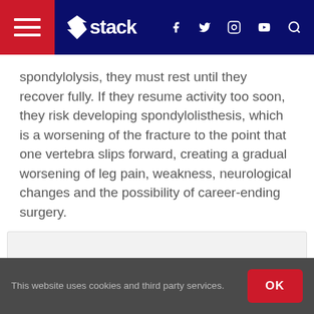stack
spondylolysis, they must rest until they recover fully. If they resume activity too soon, they risk developing spondylolisthesis, which is a worsening of the fracture to the point that one vertebra slips forward, creating a gradual worsening of leg pain, weakness, neurological changes and the possibility of career-ending surgery.
RELATED: Athlete's Guide to Back Injury Rehabilitation
[Figure (other): Advertisement placeholder box]
This website uses cookies and third party services.